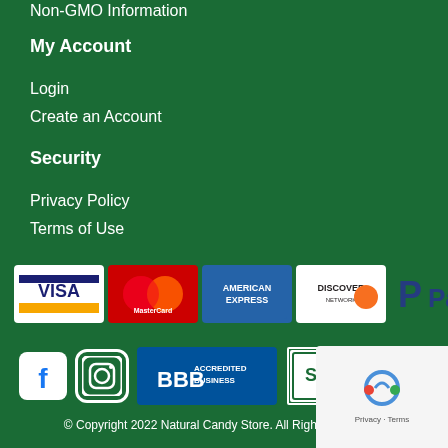Text Messages
Non-GMO Information
My Account
Login
Create an Account
Security
Privacy Policy
Terms of Use
[Figure (logo): Payment logos: Visa, MasterCard, American Express, Discover, PayPal]
[Figure (logo): Social and trust badges: Facebook, Instagram, BBB Accredited Business, Secured by Sectigo]
© Copyright 2022 Natural Candy Store. All Rights Reserved.